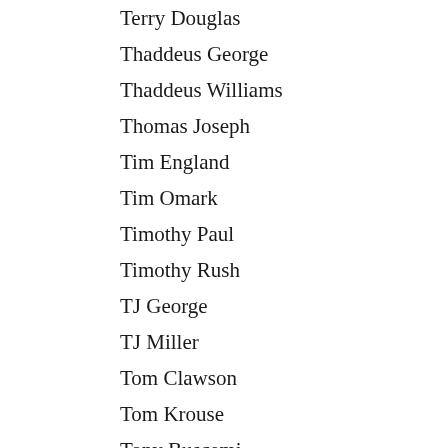Terry Douglas
Thaddeus George
Thaddeus Williams
Thomas Joseph
Tim England
Tim Omark
Timothy Paul
Timothy Rush
TJ George
TJ Miller
Tom Clawson
Tom Krouse
Tony Buscemi
Tracy Keeenan
Travis Maynard